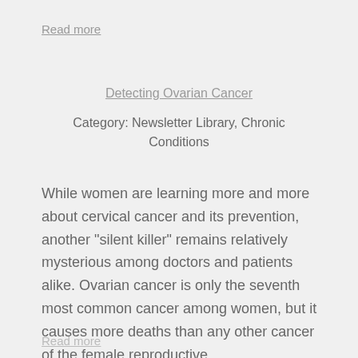Read more
Detecting Ovarian Cancer
Category: Newsletter Library, Chronic Conditions
While women are learning more and more about cervical cancer and its prevention, another "silent killer" remains relatively mysterious among doctors and patients alike. Ovarian cancer is only the seventh most common cancer among women, but it causes more deaths than any other cancer of the female reproductive
Read more